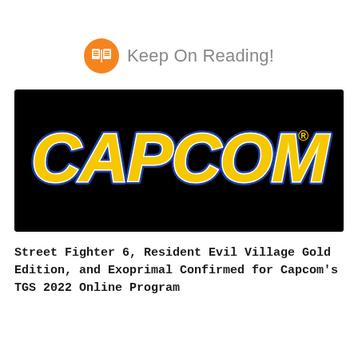Keep On Reading!
[Figure (logo): Capcom logo on black background — yellow block letters spelling CAPCOM with blue outline and white border, registered trademark symbol]
Street Fighter 6, Resident Evil Village Gold Edition, and Exoprimal Confirmed for Capcom's TGS 2022 Online Program